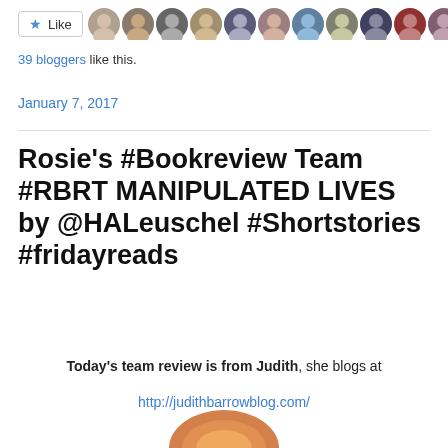[Figure (other): Like button with star icon and a row of blogger avatar photos]
39 bloggers like this.
January 7, 2017
Rosie's #Bookreview Team #RBRT MANIPULATED LIVES by @HALeuschel #Shortstories #fridayreads
Today's team review is from Judith, she blogs at http://judithbarrowblog.com/
[Figure (photo): Partial view of a book cover with orange/brown tones at the bottom of the page]